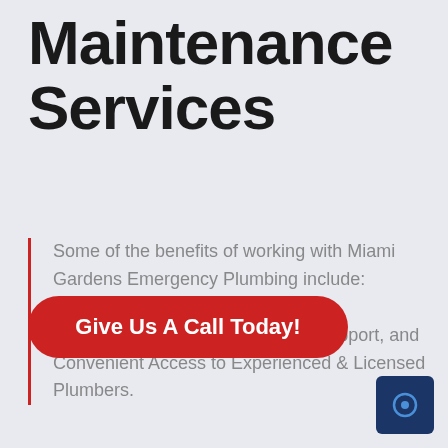Maintenance Services
Some of the benefits of working with Miami Gardens Emergency Plumbing include: Guaranteed Quality Services, Fast Responses, 24-hour Emergency Support, and Convenient Access to Experienced & Licensed Plumbers.
Give Us A Call Today!